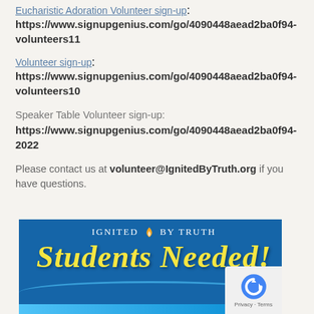Eucharistic Adoration Volunteer sign-up: https://www.signupgenius.com/go/4090448aead2ba0f94-volunteers11
Volunteer sign-up: https://www.signupgenius.com/go/4090448aead2ba0f94-volunteers10
Speaker Table Volunteer sign-up: https://www.signupgenius.com/go/4090448aead2ba0f94-2022
Please contact us at volunteer@IgnitedByTruth.org if you have questions.
[Figure (illustration): Blue banner image with 'Ignited by Truth' logo and text 'Students Needed!' in yellow italic lettering on a blue background, with a small reCAPTCHA privacy badge in the bottom right corner.]